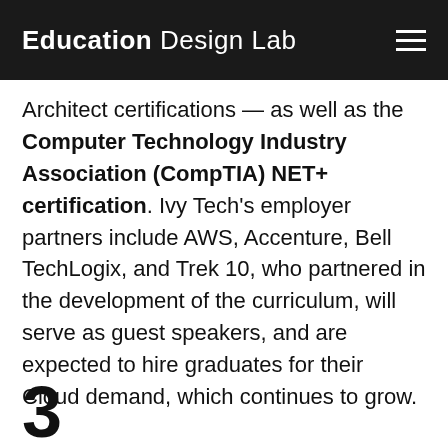Education Design Lab
Architect certifications — as well as the Computer Technology Industry Association (CompTIA) NET+ certification. Ivy Tech's employer partners include AWS, Accenture, Bell TechLogix, and Trek 10, who partnered in the development of the curriculum, will serve as guest speakers, and are expected to hire graduates for their Cloud demand, which continues to grow.